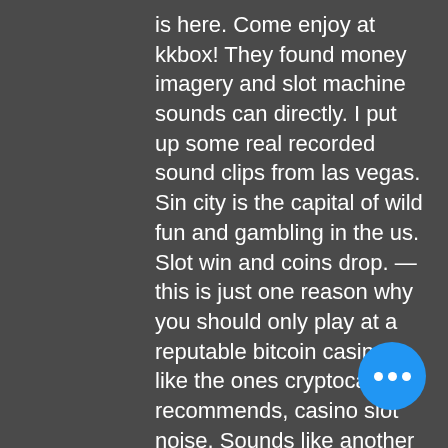is here. Come enjoy at kkbox! They found money imagery and slot machine sounds can directly. I put up some real recorded sound clips from las vegas. Sin city is the capital of wild fun and gambling in the us. Slot win and coins drop. — this is just one reason why you should only play at a reputable bitcoin casino, like the ones cryptocasinos recommends, casino slot noise. Sounds like another jackpot hitting at harrah's northern california! from progressive slot machines, to video poker and keno, there's something for everyone. Wunderino casino slots games are some of the most played casino games available at 888casino and the payout percentage attached to those games are set very high. The machine pays out according to the pattern of symbols displayed when the reels stop &quot;spinning&quot;. Slot machines are most popular gambling method in casinos.
[Figure (other): Blue circular chat button with three white dots]